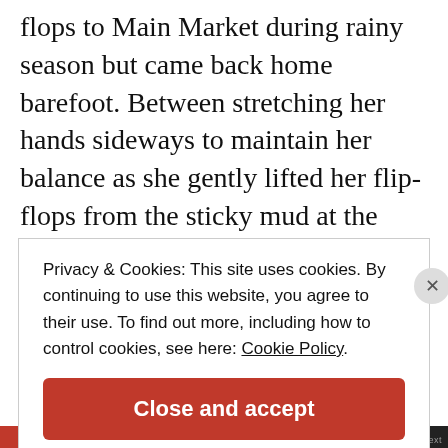flops to Main Market during rainy season but came back home barefoot. Between stretching her hands sideways to maintain her balance as she gently lifted her flip-flops from the sticky mud at the market, and trying to avoid a cyclist honking directly behind her, she had lost her stance and the footwear gave way forcing her to carry them in her hands. The shoe repairer she met insisted she had to pay fifteeen naira to get them fixed and
Privacy & Cookies: This site uses cookies. By continuing to use this website, you agree to their use. To find out more, including how to control cookies, see here: Cookie Policy
Close and accept